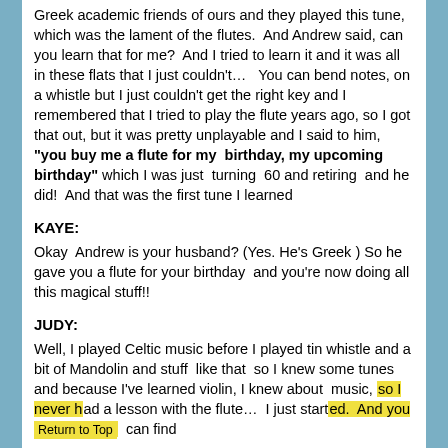Greek academic friends of ours and they played this tune, which was the lament of the flutes. And Andrew said, can you learn that for me? And I tried to learn it and it was all in these flats that I just couldn't… You can bend notes, on a whistle but I just couldn't get the right key and I remembered that I tried to play the flute years ago, so I got that out, but it was pretty unplayable and I said to him, "you buy me a flute for my birthday, my upcoming birthday" which I was just turning 60 and retiring and he did! And that was the first tune I learned
KAYE:
Okay Andrew is your husband? (Yes. He's Greek ) So he gave you a flute for your birthday and you're now doing all this magical stuff!!
JUDY:
Well, I played Celtic music before I played tin whistle and a bit of Mandolin and stuff like that so I knew some tunes and because I've learned violin, I knew about music, so I never had a lesson with the flute… I just started. And you can find